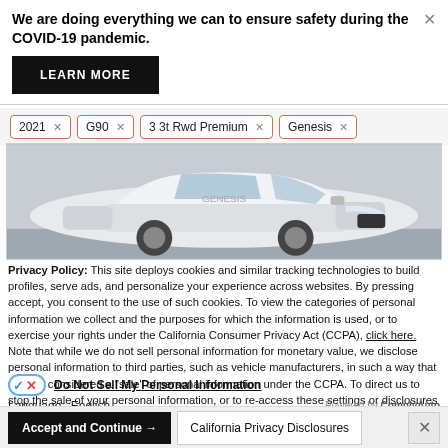We are doing everything we can to ensure safety during the COVID-19 pandemic.
LEARN MORE
2021 × G90 × 3 3t Rwd Premium × Genesis ×
[Figure (photo): White Genesis G90 luxury sedan, side profile view, parked outdoors]
Privacy Policy: This site deploys cookies and similar tracking technologies to build profiles, serve ads, and personalize your experience across websites. By pressing accept, you consent to the use of such cookies. To view the categories of personal information we collect and the purposes for which the information is used, or to exercise your rights under the California Consumer Privacy Act (CCPA), click here. Note that while we do not sell personal information for monetary value, we disclose personal information to third parties, such as vehicle manufacturers, in such a way that may be considered a "sale" of personal information under the CCPA. To direct us to stop the sale of your personal information, or to re-access these settings or disclosures at anytime, click the following icon or link:
Do Not Sell My Personal Information
Language: English ∨ Powered by ComplyAuto
Accept and Continue → California Privacy Disclosures ×